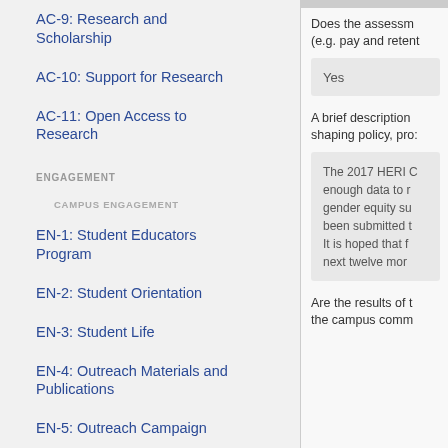AC-9: Research and Scholarship
AC-10: Support for Research
AC-11: Open Access to Research
ENGAGEMENT
CAMPUS ENGAGEMENT
EN-1: Student Educators Program
EN-2: Student Orientation
EN-3: Student Life
EN-4: Outreach Materials and Publications
EN-5: Outreach Campaign
Does the assessment (e.g. pay and retent
Yes
A brief description shaping policy, pro
The 2017 HERI C enough data to r gender equity su been submitted t It is hoped that f next twelve mor
Are the results of t the campus comm